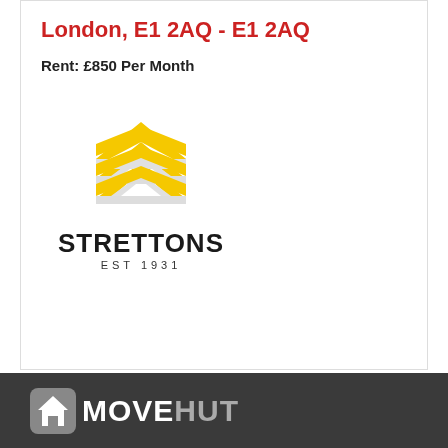London, E1 2AQ - E1 2AQ
Rent: £850 Per Month
[Figure (logo): Strettons Est 1931 logo — yellow chevron/zigzag mark above bold STRETTONS text and EST 1931 subtitle]
[Figure (other): Pagination bar with buttons: << First, Prev, 1 (active), 2, Next, Last >>]
[Figure (logo): Movehut logo in white and grey on dark background footer]